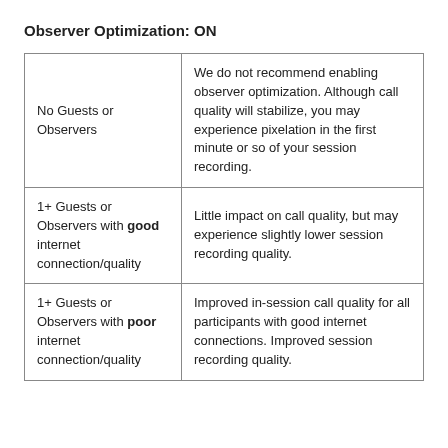Observer Optimization: ON
|  |  |
| --- | --- |
| No Guests or Observers | We do not recommend enabling observer optimization. Although call quality will stabilize, you may experience pixelation in the first minute or so of your session recording. |
| 1+ Guests or Observers with good internet connection/quality | Little impact on call quality, but may experience slightly lower session recording quality. |
| 1+ Guests or Observers with poor internet connection/quality | Improved in-session call quality for all participants with good internet connections. Improved session recording quality. |